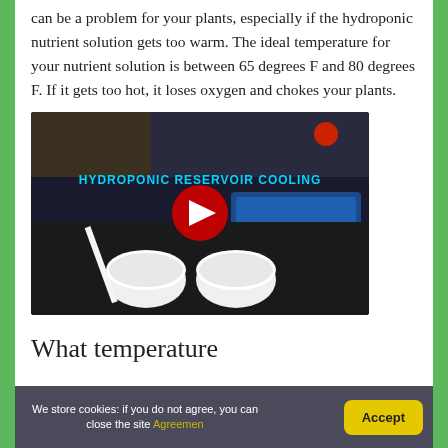can be a problem for your plants, especially if the hydroponic nutrient solution gets too warm. The ideal temperature for your nutrient solution is between 65 degrees F and 80 degrees F. If it gets too hot, it loses oxygen and chokes your plants.
[Figure (screenshot): YouTube video thumbnail showing hydroponic reservoir cooling setup with white bowls, a blue tray with water, and text overlay reading 'HYDROPONIC RESERVOIR COOLING'. A red YouTube play button is centered on the image.]
What temperature
We store cookies: if you do not agree, you can close the site Agreemen